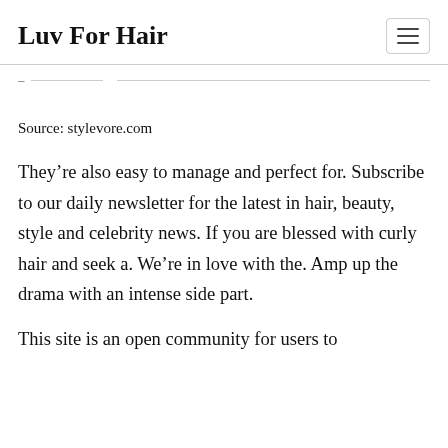Luv For Hair
Source: stylevore.com
They’re also easy to manage and perfect for. Subscribe to our daily newsletter for the latest in hair, beauty, style and celebrity news. If you are blessed with curly hair and seek a. We’re in love with the. Amp up the drama with an intense side part.
This site is an open community for users to